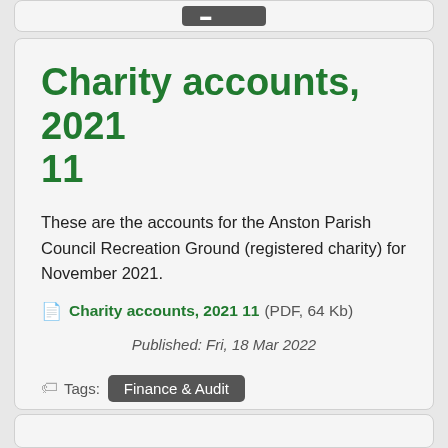Charity accounts, 2021 11
These are the accounts for the Anston Parish Council Recreation Ground (registered charity) for November 2021.
Charity accounts, 2021 11 (PDF, 64 Kb)
Published: Fri, 18 Mar 2022
Tags: Finance & Audit